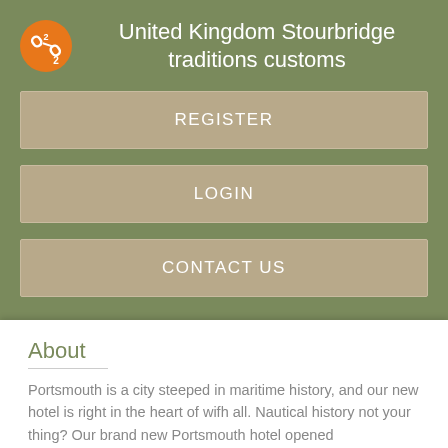United Kingdom Stourbridge traditions customs
REGISTER
LOGIN
CONTACT US
About
Portsmouth is a city steeped in maritime history, and our new hotel is right in the heart of wifh all. Nautical history not your thing? Our brand new Portsmouth hotel opened